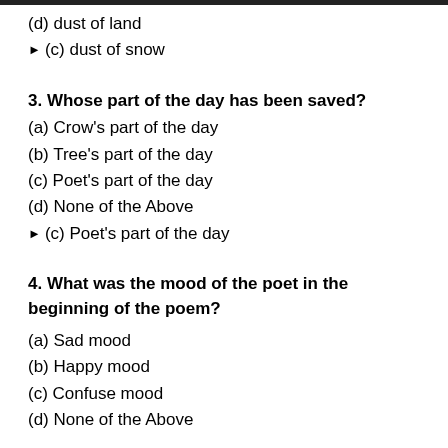(d) dust of land
▶ (c) dust of snow
3. Whose part of the day has been saved?
(a) Crow's part of the day
(b) Tree's part of the day
(c) Poet's part of the day
(d) None of the Above
▶ (c) Poet's part of the day
4. What was the mood of the poet in the beginning of the poem?
(a) Sad mood
(b) Happy mood
(c) Confuse mood
(d) None of the Above